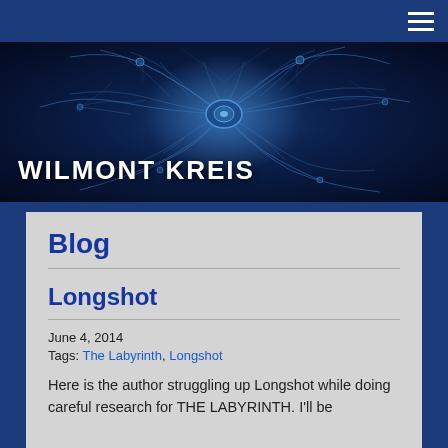[Figure (illustration): Dark blue neural/fractal background banner image with glowing blue tendrils and a central node resembling neurons or crystalline structures]
WILMONT KREIS
Blog
Longshot
June 4, 2014
Tags: The Labyrinth, Longshot
Here is the author struggling up Longshot while doing careful research for THE LABYRINTH. I'll be